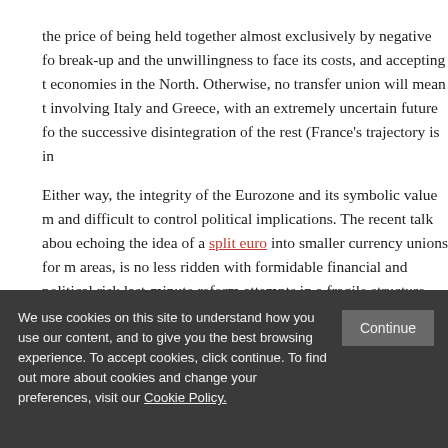the price of being held together almost exclusively by negative fo break-up and the unwillingness to face its costs, and accepting t economies in the North. Otherwise, no transfer union will mean t involving Italy and Greece, with an extremely uncertain future fo the successive disintegration of the rest (France's trajectory is in
Either way, the integrity of the Eurozone and its symbolic value m and difficult to control political implications. The recent talk abou echoing the idea of a split euro into smaller currency unions for m areas, is no less ridden with formidable financial and political ris last-minute reform attempts in a fragile structure can trigger unc reforms in the USSR did.
The EU used to be based on two pillars: the Schengen agreeme tatters, the euro has not quite reached the goals it was suppose and the almost impossible task of overcoming Brexit, the choice
We use cookies on this site to understand how you use our content, and to give you the best browsing experience. To accept cookies, click continue. To find out more about cookies and change your preferences, visit our Cookie Policy.